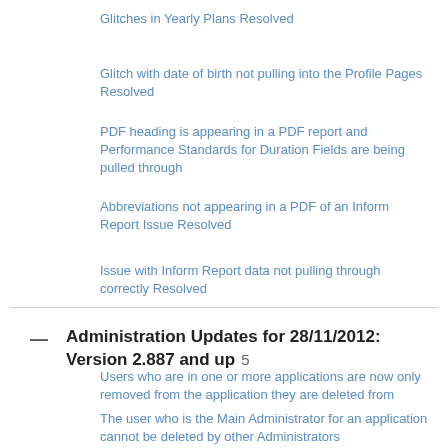Glitches in Yearly Plans Resolved
Glitch with date of birth not pulling into the Profile Pages Resolved
PDF heading is appearing in a PDF report and Performance Standards for Duration Fields are being pulled through
Abbreviations not appearing in a PDF of an Inform Report Issue Resolved
Issue with Inform Report data not pulling through correctly Resolved
Administration Updates for 28/11/2012: Version 2.887 and up 5
Users who are in one or more applications are now only removed from the application they are deleted from
The user who is the Main Administrator for an application cannot be deleted by other Administrators
Administration Site: People permissions layout change